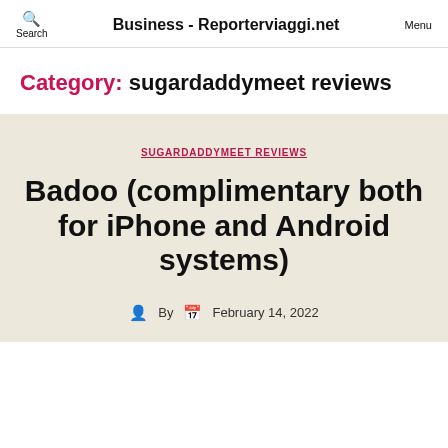Business - Reporterviaggi.net
Category: sugardaddymeet reviews
SUGARDADDYMEET REVIEWS
Badoo (complimentary both for iPhone and Android systems)
By  February 14, 2022